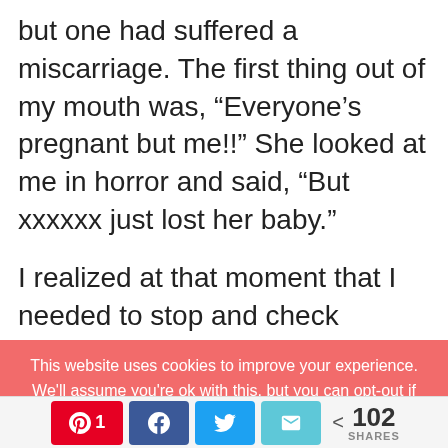but one had suffered a miscarriage. The first thing out of my mouth was, “Everyone’s pregnant but me!!” She looked at me in horror and said, “But xxxxxx just lost her baby.”
I realized at that moment that I needed to stop and check myself. My intense desire for a baby–along with the longing, the sadness, the
This website uses cookies to improve your experience. We’ll assume you’re ok with this, but you can opt-out if you wish.
Accept
1            < 102 SHARES